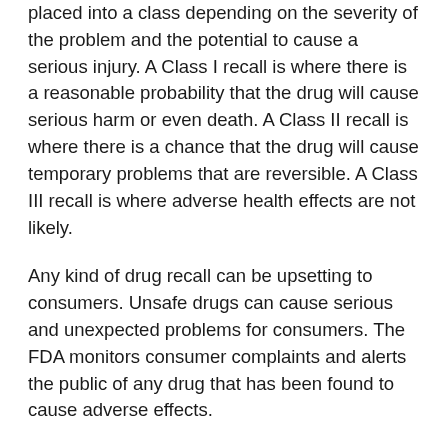placed into a class depending on the severity of the problem and the potential to cause a serious injury. A Class I recall is where there is a reasonable probability that the drug will cause serious harm or even death. A Class II recall is where there is a chance that the drug will cause temporary problems that are reversible. A Class III recall is where adverse health effects are not likely.
Any kind of drug recall can be upsetting to consumers. Unsafe drugs can cause serious and unexpected problems for consumers. The FDA monitors consumer complaints and alerts the public of any drug that has been found to cause adverse effects.
A person who has been negatively affected by an unsafe drug may wish to contact a legal professional skilled in drugs and medical devices. An attorney can